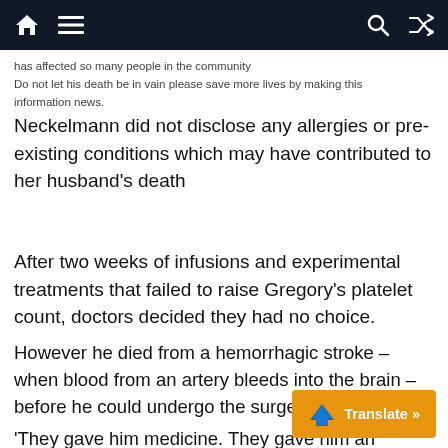Navigation bar with home, menu, search, and shuffle icons
has affected so many people in the community
Do not let his death be in vain please save more lives by making this information news.
Neckelmann did not disclose any allergies or pre-existing conditions which may have contributed to her husband’s death
After two weeks of infusions and experimental treatments that failed to raise Gregory’s platelet count, doctors decided they had no choice.
However he died from a hemorrhagic stroke – when blood from an artery bleeds into the brain – before he could undergo the surgery.
‘They gave him medicine. They gave him an incredible amount of platelet infusions, I’m told all the platelets in Miami Dade County,’ Heidi said.
‘But no matter what they did, nothing h…